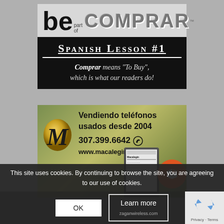[Figure (illustration): Be part of COMPRAR advertisement logo with grey background showing bold 'be' text and stylized 'COMPRAR' text]
[Figure (infographic): Spanish Lesson #1 black banner: 'Comprar means To Buy, which is what our readers do!']
[Figure (illustration): Macalegin advertisement on green-toned background: 'Vendiendo teléfonos usados desde 2004', phone number 307.399.6642, website www.macalegin.com, with M logo and phone image]
This site uses cookies. By continuing to browse the site, you are agreeing to our use of cookies.
[Figure (screenshot): Bottom partial advertisement showing zaganwireless.com with Tel: 954-596-2355]
OK
Learn more
Privacy · Terms